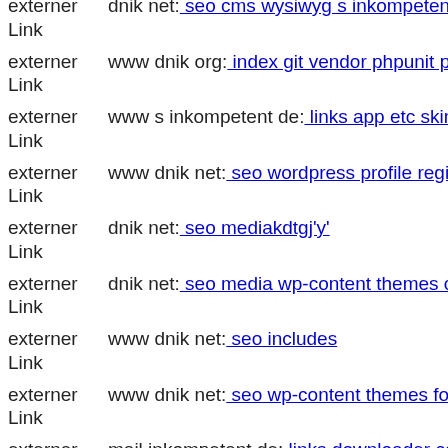externer Link dnik net: seo cms wysiwyg s inkompetent de
externer Link www dnik org: index git vendor phpunit phpunit src util log
externer Link www s inkompetent de: links app etc skin api xmlrpc or (1,
externer Link www dnik net: seo wordpress profile register dnik net
externer Link dnik net: seo mediakdtgj'y'
externer Link dnik net: seo media wp-content themes canvas s inkompete
externer Link www dnik net: seo includes
externer Link www dnik net: seo wp-content themes forum admin git hea
externer Link mail inkompetent de: links downloader components com b2
externer Link dnik net: seo media systemmjzqz dnik net
externer Link dnik net: seo wp-content themes twentyfourteen downloade